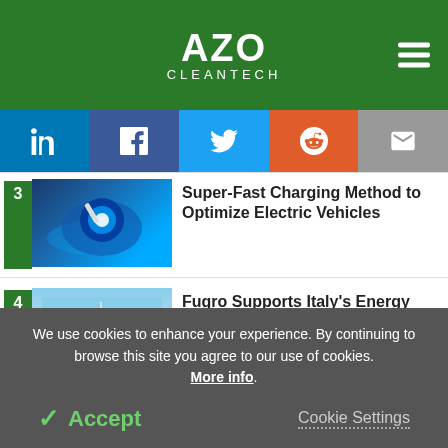[Figure (logo): AZO Cleantech logo in white on green header background]
[Figure (infographic): Social sharing bar with LinkedIn, Facebook, Twitter, Reddit, and Email icons]
[Figure (photo): EV charging robot arm with blue energy glow]
Super-Fast Charging Method to Optimize Electric Vehicles
[Figure (photo): Offshore wind turbines on water]
Fugro Supports Italy's Energy Transition with Renexia Survey for Med Wind Floating Wind
We use cookies to enhance your experience. By continuing to browse this site you agree to our use of cookies. More info.